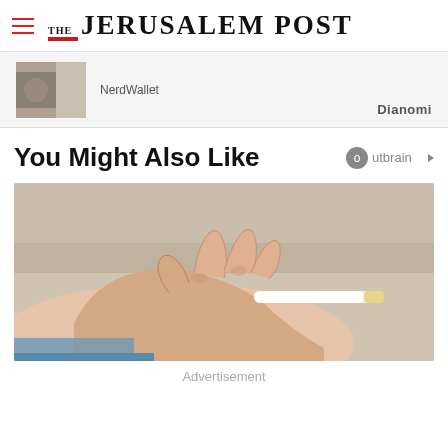THE JERUSALEM POST
[Figure (photo): Advertisement thumbnail showing a person with hands, partial view, with Dianomi branding]
You Might Also Like
[Figure (photo): Hand holding a cigarette against a light background]
Advertisement